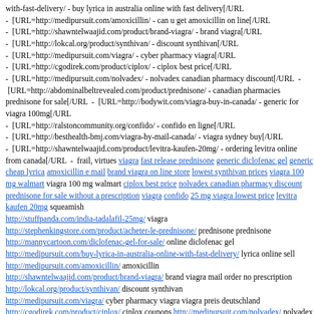with-fast-delivery/ - buy lyrica in australia online with fast delivery[/URL - [URL=http://medipursuit.com/amoxicillin/ - can u get amoxicillin on line[/URL - [URL=http://shawntelwaajid.com/product/brand-viagra/ - brand viagra[/URL - [URL=http://lokcal.org/product/synthivan/ - discount synthivan[/URL - [URL=http://medipursuit.com/viagra/ - cyber pharmacy viagra[/URL - [URL=http://cgodirek.com/product/ciplox/ - ciplox best price[/URL - [URL=http://medipursuit.com/nolvadex/ - nolvadex canadian pharmacy discount[/URL - [URL=http://abdominalbeltrevealed.com/product/prednisone/ - canadian pharmacies prednisone for sale[/URL - [URL=http://bodywit.com/viagra-buy-in-canada/ - generic for viagra 100mg[/URL - [URL=http://ralstoncommunity.org/confido/ - confido en ligne[/URL - [URL=http://besthealth-bmj.com/viagra-by-mail-canada/ - viagra sydney buy[/URL - [URL=http://shawntelwaajid.com/product/levitra-kaufen-20mg/ - ordering levitra online from canada[/URL - frail, virtues viagra fast release prednisone generic diclofenac gel generic cheap lyrica amoxicillin e mail brand viagra on line store lowest synthivan prices viagra 100 mg walmart viagra 100 mg walmart ciplox best price nolvadex canadian pharmacy discount prednisone for sale without a prescription viagra confido 25 mg viagra lowest price levitra kaufen 20mg squeamish http://stuffpanda.com/india-tadalafil-25mg/ viagra http://stephenkingstore.com/product/acheter-le-prednisone/ prednisone prednisone http://mannycartoon.com/diclofenac-gel-for-sale/ online diclofenac gel http://medipursuit.com/buy-lyrica-in-australia-online-with-fast-delivery/ lyrica online sell http://medipursuit.com/amoxicillin/ amoxicillin http://shawntelwaajid.com/product/brand-viagra/ brand viagra mail order no prescription http://lokcal.org/product/synthivan/ discount synthivan http://medipursuit.com/viagra/ cyber pharmacy viagra viagra preis deutschland http://cgodirek.com/product/ciplox/ ciplox coupons http://medipursuit.com/nolvadex/ nolvadex uk http://abdominalbeltrevealed.com/product/prednisone/ prednisone for sale without a prescription order prednisone with paypal http://bodywit.com/viagra-buy-in-canada/ viagra is good http://ralstoncommunity.org/confido/ confido en ligne